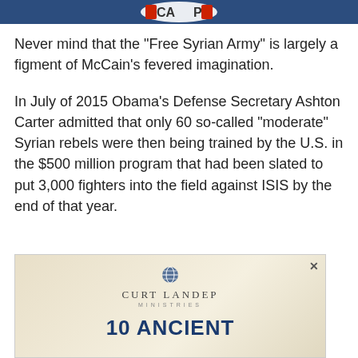[Figure (other): Dark blue header bar with partial logo (CAP with red/white design) at top of page]
Never mind that the "Free Syrian Army" is largely a figment of McCain's fevered imagination.
In July of 2015 Obama's Defense Secretary Ashton Carter admitted that only 60 so-called "moderate" Syrian rebels were then being trained by the U.S. in the $500 million program that had been slated to put 3,000 fighters into the field against ISIS by the end of that year.
[Figure (illustration): Advertisement box with beige/tan gradient background showing Curt Landep Ministries logo (globe icon) and brand name, with '10 ANCIENT' text in bold dark blue at bottom. Close button (x) in top right corner.]